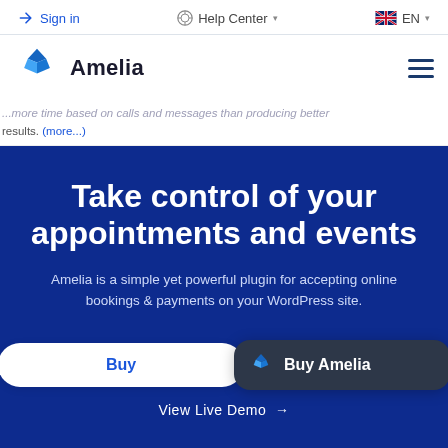Sign in | Help Center | EN
[Figure (logo): Amelia logo with blue geometric icon and 'Amelia' wordmark, plus hamburger menu icon]
...results. (more...)
Take control of your appointments and events
Amelia is a simple yet powerful plugin for accepting online bookings & payments on your WordPress site.
Buy | Buy Amelia